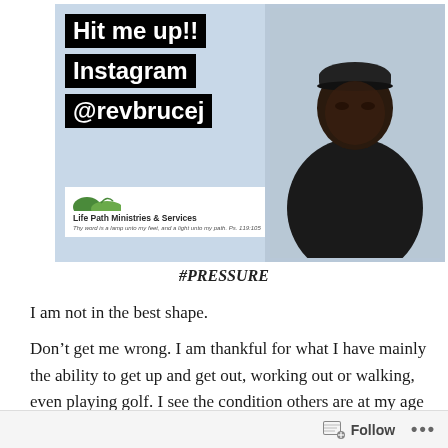[Figure (photo): Social media promotional image with black background text boxes reading 'Hit me up!! Instagram @revbrucej' on the left, and a photo of a man in a dark jacket and beanie hat on the right. Bottom left shows Life Path Ministries & Services logo with tagline 'Thy word is a lamp unto my feet, and a light unto my path. Ps. 119:105']
#PRESSURE
I am not in the best shape.
Don't get me wrong. I am thankful for what I have mainly the ability to get up and get out, working out or walking, even playing golf. I see the condition others are at my age with aches and pains, especially former
Follow ...